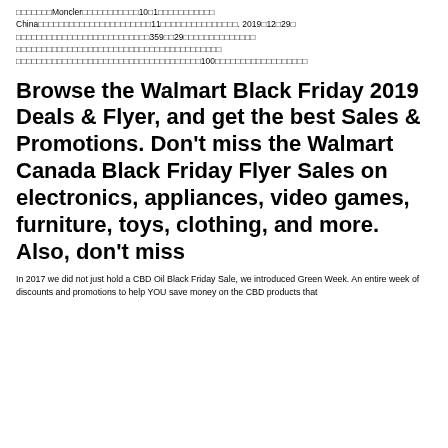□□□□□□□Moncler□□□□□□□□□□□10□1□□□□□□□□□□□ China□□□□□□□□□□□□□□□□□□□□□□11□□□□□□□□□□□□□□□. 2019□12□29□ □□□□□□□□□□□□□□□□□□□□□□□□□□359□□29□□□□□□□□□□□□□□ □□□□□□□□□□□□□□□□□□□□□□□□□□□□□□□□□□□□□□□□ □□□□□□□□□□□□□□□□□□□□□□□□□□□□□□□□□□□□100□□□□□□□□□□□□□□□□□□
Browse the Walmart Black Friday 2019 Deals & Flyer, and get the best Sales & Promotions. Don't miss the Walmart Canada Black Friday Flyer Sales on electronics, appliances, video games, furniture, toys, clothing, and more. Also, don't miss
In 2017 we did not just hold a CBD Oil Black Friday Sale, we introduced Green Week. An entire week of discounts and promotions to help YOU save money on the CBD products that